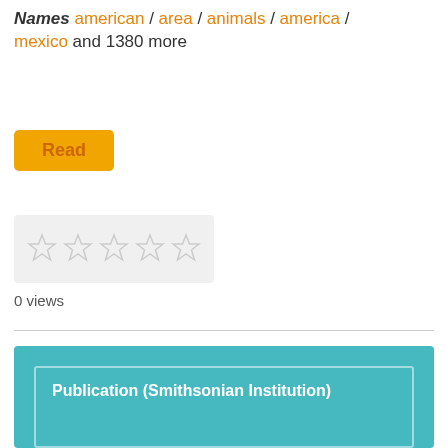Names american / area / animals / america / mexico and 1380 more
[Figure (screenshot): Yellow Read button]
[Figure (screenshot): Star rating widget showing 5 empty stars on a light grey background]
0 views
[Figure (screenshot): Teal/cyan colored box with inner border containing the title Publication (Smithsonian Institution) in white bold text]